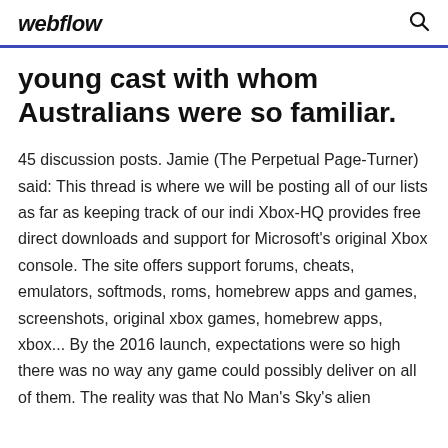webflow
young cast with whom Australians were so familiar.
45 discussion posts. Jamie (The Perpetual Page-Turner) said: This thread is where we will be posting all of our lists as far as keeping track of our indi Xbox-HQ provides free direct downloads and support for Microsoft's original Xbox console. The site offers support forums, cheats, emulators, softmods, roms, homebrew apps and games, screenshots, original xbox games, homebrew apps, xbox... By the 2016 launch, expectations were so high there was no way any game could possibly deliver on all of them. The reality was that No Man's Sky's alien